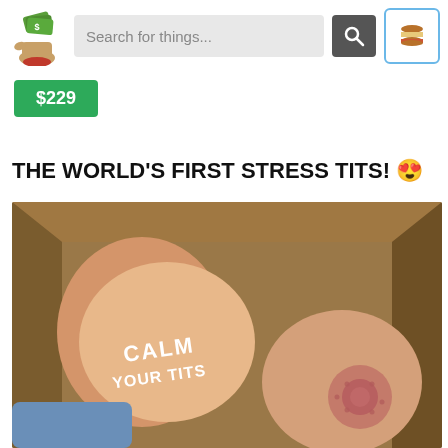[Figure (screenshot): Website header with a hand holding cash logo, search bar reading 'Search for things...', search button, and hamburger menu button]
$229
THE WORLD'S FIRST STRESS TITS! 😍
[Figure (photo): A hand holding two flesh-colored stress ball shaped like breasts in a cardboard box. One has 'CALM YOUR TITS' printed in white bold letters.]